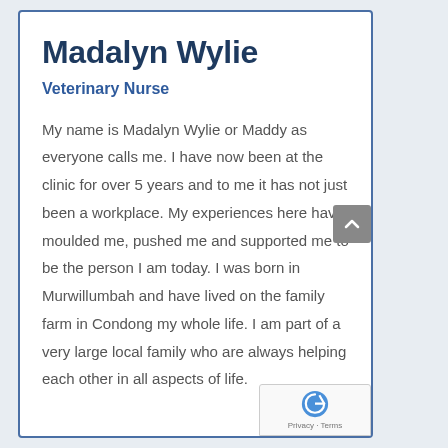Madalyn Wylie
Veterinary Nurse
My name is Madalyn Wylie or Maddy as everyone calls me. I have now been at the clinic for over 5 years and to me it has not just been a workplace. My experiences here have moulded me, pushed me and supported me to be the person I am today. I was born in Murwillumbah and have lived on the family farm in Condong my whole life. I am part of a very large local family who are always helping each other in all aspects of life.